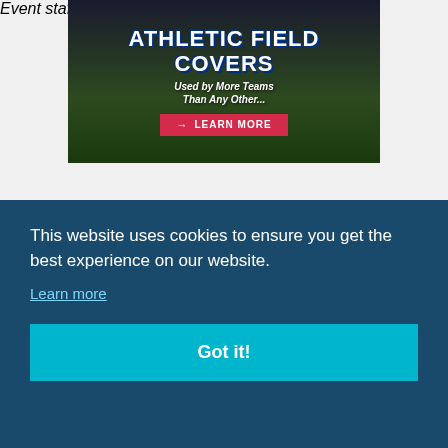[Figure (illustration): Athletic field covers advertisement image showing workers rolling out a large white tarp on a sports field. Text reads 'ATHLETIC FIELD COVERS', 'Used by More Teams Than Any Other...', and a red 'LEARN MORE' button.]
Staff can gain entry to a venue with only an ID
e to
ution
g
ield.
Event staff must go through one entry with six
This website uses cookies to ensure you get the best experience on our website. Learn more
Got it!